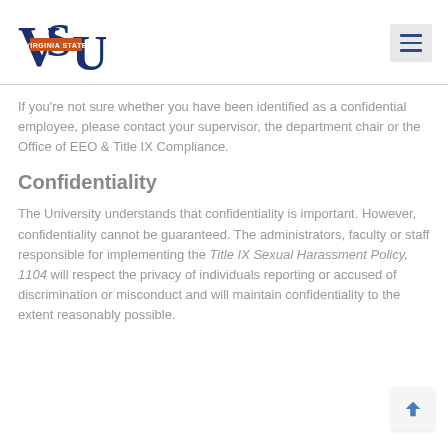[Figure (logo): Virginia State University (VSU) logo with dark blue serif letters V, S, U and orange banner reading VIRGINIA STATE]
If you’re not sure whether you have been identified as a confidential employee, please contact your supervisor, the department chair or the Office of EEO & Title IX Compliance.
Confidentiality
The University understands that confidentiality is important. However, confidentiality cannot be guaranteed. The administrators, faculty or staff responsible for implementing the Title IX Sexual Harassment Policy, 1104 will respect the privacy of individuals reporting or accused of discrimination or misconduct and will maintain confidentiality to the extent reasonably possible.